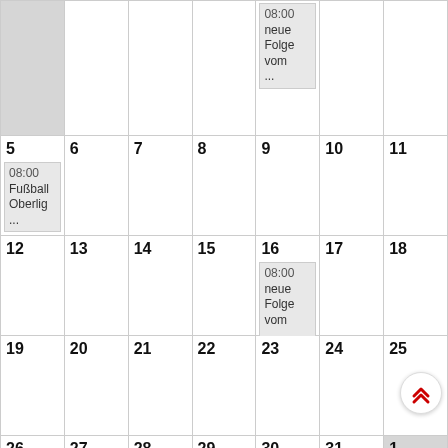[Figure (other): Monthly calendar grid showing dates 5-31 and 1, with events: day 5 has 08:00 Fußball Oberlig..., day 9 (top partial) and day 16 and day 30 each have 08:00 neue Folge vom ..., day 1 is grayed out as next month]
DEFAULT   Alle Kategorien